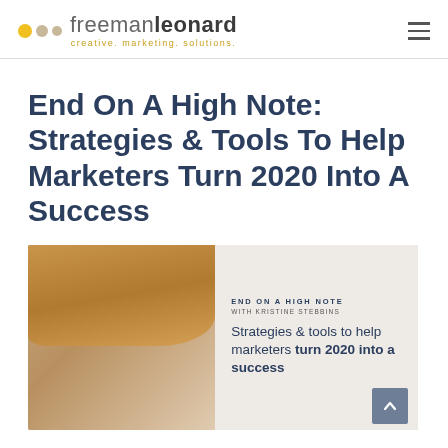freeman leonard — creative. marketing. solutions.
End On A High Note: Strategies & Tools To Help Marketers Turn 2020 Into A Success
[Figure (photo): Photo of a woman with blond hair smiling, overlaid with promotional text for a webinar titled 'End On A High Note with Kristine Stebbins — Strategies & tools to help marketers turn 2020 into a success']